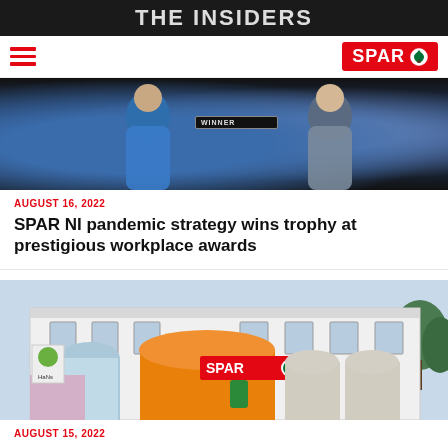THE INSIDERS
[Figure (logo): SPAR logo in red rectangle with green tree icon]
[Figure (photo): Two women at an awards ceremony, one holding a Winner trophy plaque, dark background]
AUGUST 16, 2022
SPAR NI pandemic strategy wins trophy at prestigious workplace awards
[Figure (photo): Exterior of a SPAR Scotland store in a white-painted building with arched windows and SPAR signage]
AUGUST 15, 2022
Too Good To Go available across all 107 SPAR Scotland